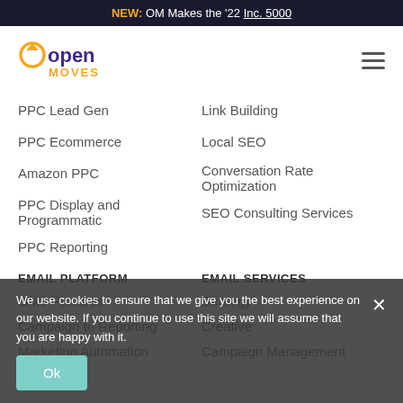NEW: OM Makes the '22 Inc. 5000
[Figure (logo): OpenMoves logo - orange and purple text reading 'open MOVES' with a circular arrow icon]
PPC Lead Gen
Link Building
PPC Ecommerce
Local SEO
Amazon PPC
Conversation Rate Optimization
PPC Display and Programmatic
SEO Consulting Services
PPC Reporting
EMAIL PLATFORM
EMAIL SERVICES
OM3 Features
Strategy
Campaign to Reporting
Creative
Marketing Automation
Campaign Management
We use cookies to ensure that we give you the best experience on our website. If you continue to use this site we will assume that you are happy with it.